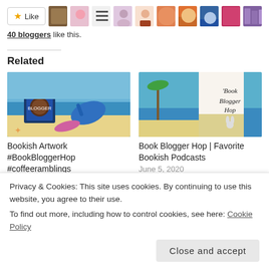[Figure (other): Like button with star icon and a strip of blogger avatar thumbnails]
40 bloggers like this.
Related
[Figure (photo): Beach scene with flip flops, sunglasses, starfish, and a Book Blogger badge – thumbnail for Bookish Artwork #BookBloggerHop #coffeeramblings]
Bookish Artwork #BookBloggerHop #coffeeramblings
January 14, 2022
[Figure (photo): Book Blogger Hop graphic with beach and handwritten text – thumbnail for Book Blogger Hop | Favorite Bookish Podcasts]
Book Blogger Hop | Favorite Bookish Podcasts
June 5, 2020
Privacy & Cookies: This site uses cookies. By continuing to use this website, you agree to their use.
To find out more, including how to control cookies, see here: Cookie Policy
Close and accept